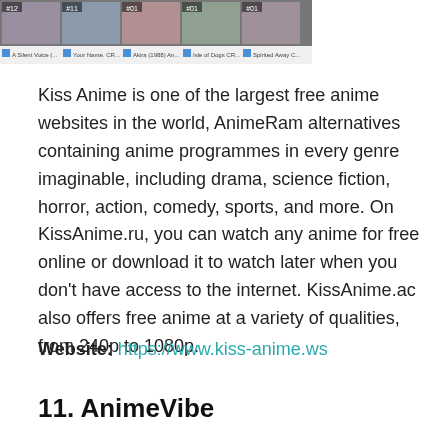[Figure (screenshot): Screenshot of KissAnime website showing anime thumbnails with titles including A Silent Voice, Your Name, Akira (1988), Isle of Dogs, Spirited Away]
Kiss Anime is one of the largest free anime websites in the world, AnimeRam alternatives containing anime programmes in every genre imaginable, including drama, science fiction, horror, action, comedy, sports, and more. On KissAnime.ru, you can watch any anime for free online or download it to watch later when you don't have access to the internet. KissAnime.ac also offers free anime at a variety of qualities, from 240p to 1080p.
Website: https://www.kiss-anime.ws
11. AnimeVibe